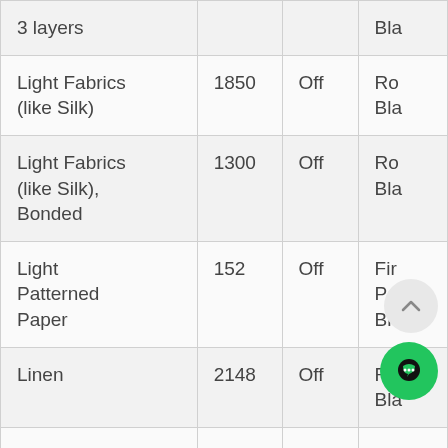| Material | Value | Status | Color |
| --- | --- | --- | --- |
| 3 layers |  |  | Bla… |
| Light Fabrics (like Silk) | 1850 | Off | Ro… Bla… |
| Light Fabrics (like Silk), Bonded | 1300 | Off | Ro… Bla… |
| Light Patterned Paper | 152 | Off | Fir… Po… Bla… |
| Linen | 2148 | Off | Ro… Bla… |
| Linen, Bonded | 1400 | Off | Bla… |